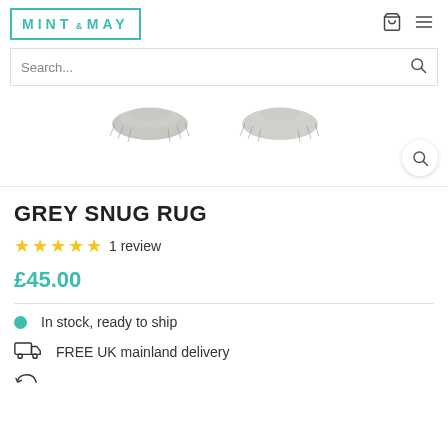MINT & MAY
Search...
[Figure (photo): Two grey snug rug items shown from top view, partially cropped at the top of the product page, with a circular zoom magnifier button in the bottom right.]
GREY SNUG RUG
★★★★★ 1 review
£45.00
In stock, ready to ship
FREE UK mainland delivery